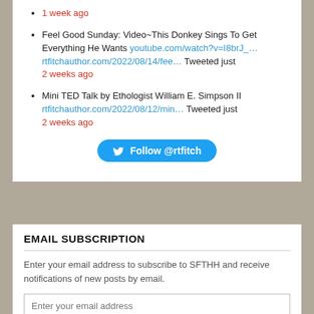1 week ago
Feel Good Sunday: Video~This Donkey Sings To Get Everything He Wants youtube.com/watch?v=I8brJ_... rtfitchauthor.com/2022/08/14/fee... Tweeted just 2 weeks ago
Mini TED Talk by Ethologist William E. Simpson II rtfitchauthor.com/2022/08/12/min... Tweeted just 2 weeks ago
[Figure (other): Twitter Follow @rtfitch button]
EMAIL SUBSCRIPTION
Enter your email address to subscribe to SFTHH and receive notifications of new posts by email.
Enter your email address
SIGN ME UP!